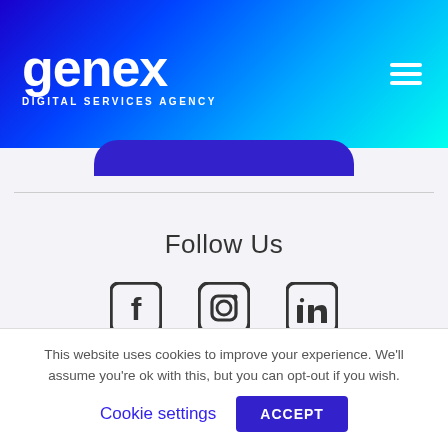[Figure (logo): Genex Digital Services Agency logo in white on gradient blue/cyan header, with hamburger menu icon on right]
Follow Us
[Figure (infographic): Three social media icons: Facebook, Instagram, LinkedIn in dark gray]
© 2019 All Rights Reserved
Privacy Policy
This website uses cookies to improve your experience. We'll assume you're ok with this, but you can opt-out if you wish.
Cookie settings  ACCEPT